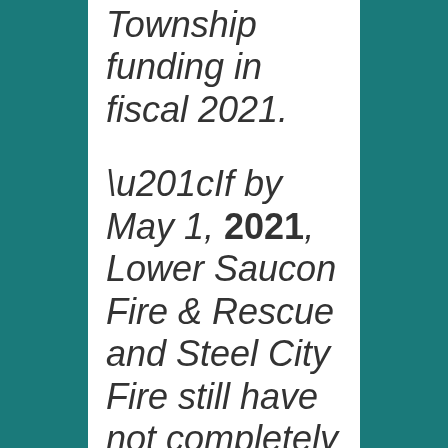Township funding in fiscal 2021.
“If by May 1, 2021, Lower Saucon Fire & Rescue and Steel City Fire still have not completely merged their